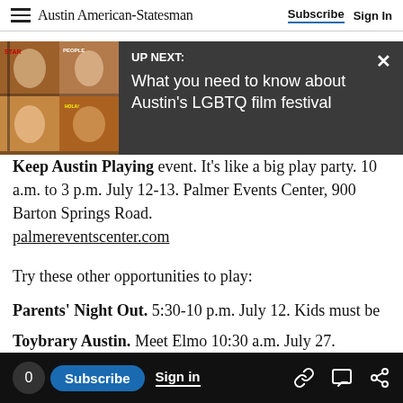Austin American-Statesman   Subscribe   Sign In
[Figure (screenshot): UP NEXT banner with thumbnail image on left showing magazine covers with people, dark gray background, title: What you need to know about Austin's LGBTQ film festival, with X close button]
Keep Austin Playing event. It's like a big play party. 10 a.m. to 3 p.m. July 12-13. Palmer Events Center, 900 Barton Springs Road. palmereventscenter.com
Try these other opportunities to play:
Parents' Night Out. 5:30-10 p.m. July 12. Kids must be 4 or older and potty-trained. $45 first child, $25 each additional sibling. Thinkery, 1830 Simon d Ave. thinkeryaustin.org
Toybrary Austin. Meet Elmo 10:30 a.m. July 27.
0   Subscribe   Sign in